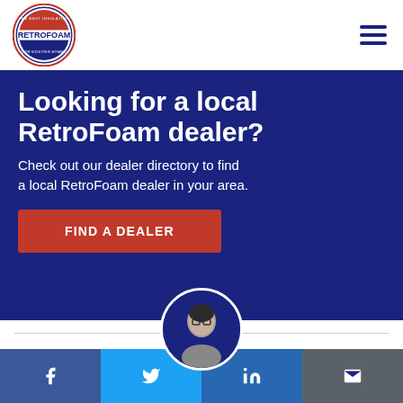[Figure (logo): RetroFoam circular logo with red, white and blue design. Text: THE BEST INSULATION FOR EXISTING HOMES around the border, RETROFOAM in center.]
Looking for a local RetroFoam dealer?
Check out our dealer directory to find a local RetroFoam dealer in your area.
FIND A DEALER
[Figure (photo): Circular portrait photo of a woman with glasses and dark hair, wearing a grey jacket, against a blue background.]
[Figure (infographic): Social media share bar with Facebook (blue), Twitter (light blue), LinkedIn (dark blue), and Email (grey) icons.]